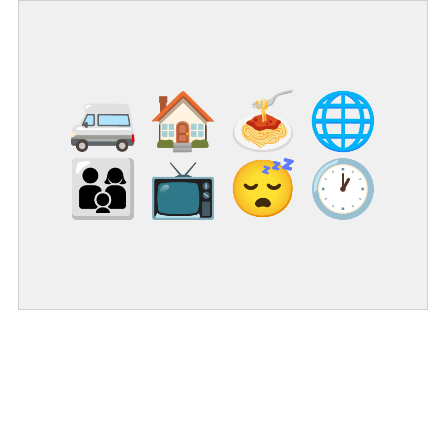[Figure (illustration): A grid of emoji icons arranged in two rows of four: top row shows a blue van/bus, a house with trees, a plate of food, and a globe; bottom row shows a family of three, a vintage TV, a sleeping face with ZZZ, and a clock/timer.]
ZMD at 6:00 AM    No comments:
Share
Sunday, September 21, 2014
You Give Docs A Bad Name
Audacity hardy begins to describe this physician. In the latest article from the New York Times on who is to blame for the